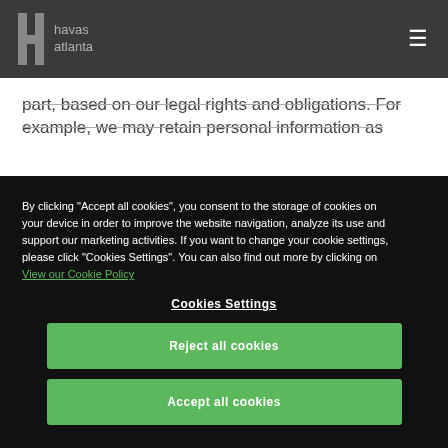[Figure (logo): Havas Atlanta logo with stylized H lettermark and text 'havas atlanta' in grey on dark background]
part, based on our legal rights and obligations. For example, we may retain personal information as
By clicking "Accept all cookies", you consent to the storage of cookies on your device in order to improve the website navigation, analyze its use and support our marketing activities. If you want to change your cookie settings, please click "Cookies Settings". You can also find out more by clicking on View our Cookie Policy
Cookies Settings
Reject all cookies
Accept all cookies